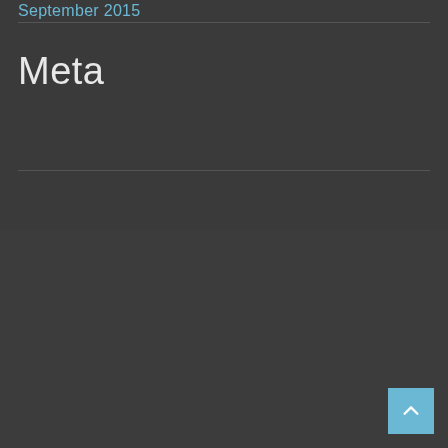September 2015
Meta
Anmelden
Der Tempomacher
Rieselfeldallee 31
79111 Freiburg
info@dertempomacher.de
Tel.: +49 761 13 73 09 98
Fax.: +49 761 13 73 09 97